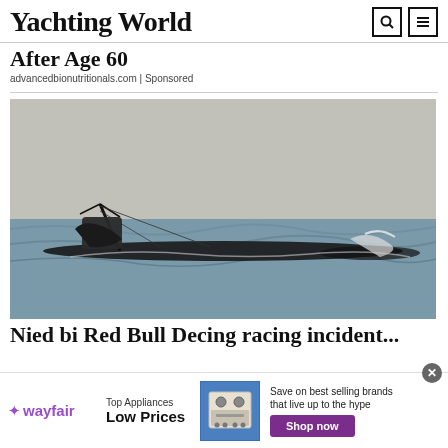Yachting World
After Age 60
advancedbionutritionals.com | Sponsored
[Figure (photo): A large sailing yacht capsized or pitchpoled in rough grey seas, with its mast and rigging visible just above the water surface, hull overturned, dramatic ocean conditions]
Nied bi Red Bull Decing racing incident...
[Figure (other): Wayfair advertisement banner: wayfair logo, Top Appliances Low Prices text, image of a stove/range appliance, Save on best selling brands that live up to the hype, Shop now button]